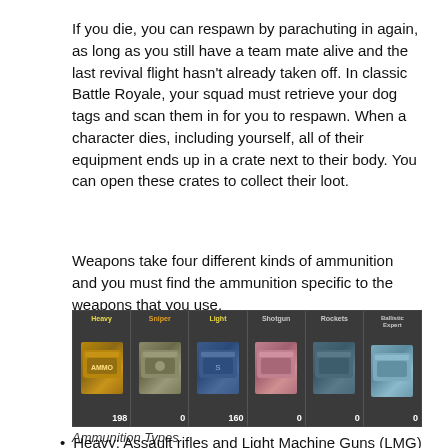If you die, you can respawn by parachuting in again, as long as you still have a team mate alive and the last revival flight hasn't already taken off. In classic Battle Royale, your squad must retrieve your dog tags and scan them in for you to respawn. When a character dies, including yourself, all of their equipment ends up in a crate next to their body. You can open these crates to collect their loot.
Weapons take four different kinds of ammunition and you must find the ammunition specific to the weapons that you use.
[Figure (screenshot): Ammunition types UI showing six ammo slots: Heavy (198), Sniper (0), Light (160), Shotgun (0), Rockets (0), Ballistic Expert (0)]
Ammunition Types
Heavy: Assault rifles and Light Machine Guns (LMG)